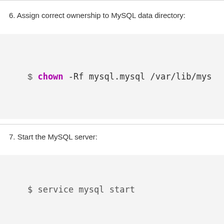6. Assign correct ownership to MySQL data directory:
$ chown -Rf mysql.mysql /var/lib/mys
7. Start the MySQL server:
$ service mysql start